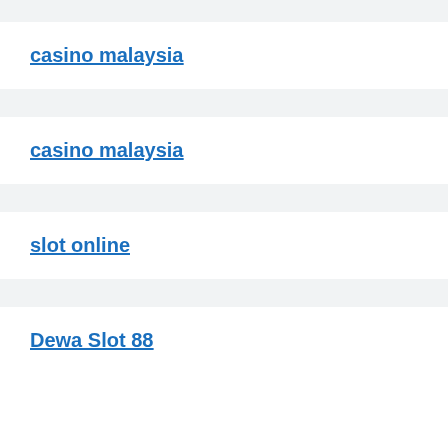casino malaysia
casino malaysia
slot online
Dewa Slot 88